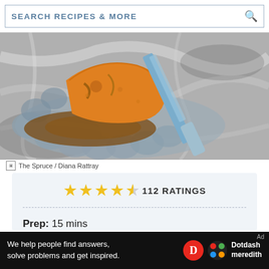SEARCH RECIPES & MORE
[Figure (photo): A slice of orange-colored flan or cheesecake with caramel sauce on a decorative glass plate with a knife on a marble surface]
The Spruce / Diana Rattray
★★★★½  112 RATINGS
Prep: 15 mins
Cook: 40 mins
Chill: 4 hrs
[Figure (infographic): Dotdash Meredith advertisement bar: 'We help people find answers, solve problems and get inspired.']